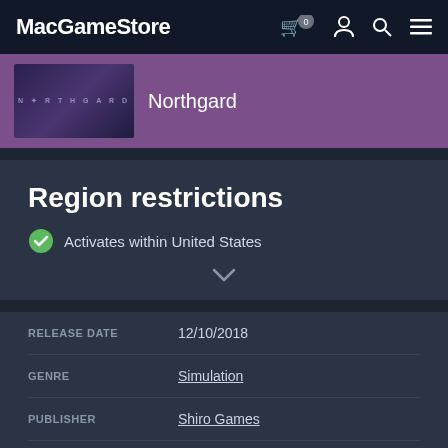MacGameStore
[Figure (screenshot): Northgard game thumbnail with dark purple/blue stylized text]
Northgard
Region restrictions
Activates within United States
|  |  |
| --- | --- |
| RELEASE DATE | 12/10/2018 |
| GENRE | Simulation |
| PUBLISHER | Shiro Games |
| DRM | Steam |
| INCLUDES | Single-player |